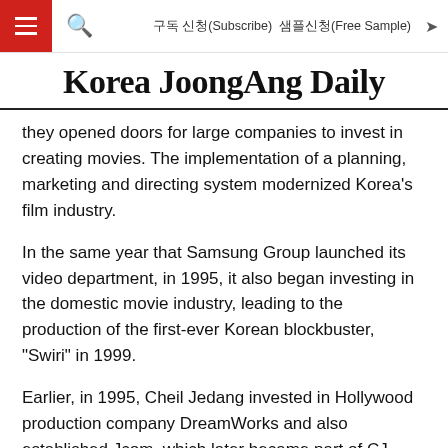구독 신청(Subscribe)   샘플신청(Free Sample)
Korea JoongAng Daily
they opened doors for large companies to invest in creating movies. The implementation of a planning, marketing and directing system modernized Korea's film industry.
In the same year that Samsung Group launched its video department, in 1995, it also began investing in the domestic movie industry, leading to the production of the first-ever Korean blockbuster, "Swiri" in 1999.
Earlier, in 1995, Cheil Jedang invested in Hollywood production company DreamWorks and also established Jcom, which later became part of CJ Group's movie business (now called CJ Entertainment). CJ E&M, the entertainment arm of CJ Group, currently operates many cable networks, including tvN.